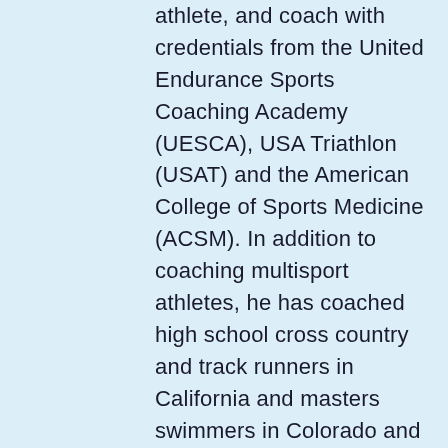athlete, and coach with credentials from the United Endurance Sports Coaching Academy (UESCA), USA Triathlon (USAT) and the American College of Sports Medicine (ACSM). In addition to coaching multisport athletes, he has coached high school cross country and track runners in California and masters swimmers in Colorado and California. As a USAT All-American triathlete, he has competed in the ITU World Triathlon Championships, the ITU World Duathlon Championships, and the Ironman World Championships in Hawaii. As a masters runner, he has won a series title in the XTERRA SoCal Trail Series. His current pursuits include trail running, climbing, mountaineering, skimo, and cross-country skiing.